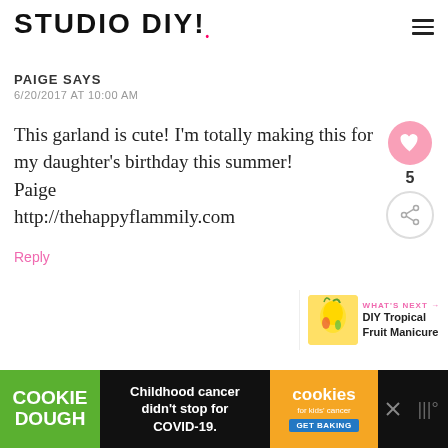STUDIO DIY!
PAIGE SAYS
6/20/2017 AT 10:00 AM
This garland is cute! I'm totally making this for my daughter's birthday this summer!
Paige
http://thehappyflammily.com
Reply
[Figure (infographic): What's Next arrow with thumbnail image of DIY Tropical Fruit Manicure]
[Figure (infographic): Cookie Dough advertisement bar: Childhood cancer didn't stop for COVID-19. Cookies for Kids Cancer GET BAKING.]